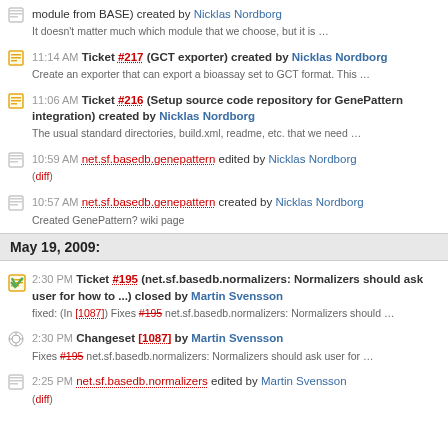module from BASE) created by Nicklas Nordborg
It doesn't matter much which module that we choose, but it is …
11:14 AM Ticket #217 (GCT exporter) created by Nicklas Nordborg
Create an exporter that can export a bioassay set to GCT format. This …
11:06 AM Ticket #216 (Setup source code repository for GenePattern integration) created by Nicklas Nordborg
The usual standard directories, build.xml, readme, etc. that we need …
10:59 AM net.sf.basedb.genepattern edited by Nicklas Nordborg
(diff)
10:57 AM net.sf.basedb.genepattern created by Nicklas Nordborg
Created GenePattern? wiki page
May 19, 2009:
2:30 PM Ticket #195 (net.sf.basedb.normalizers: Normalizers should ask user for how to ...) closed by Martin Svensson
fixed: (In [1087]) Fixes #195 net.sf.basedb.normalizers: Normalizers should …
2:30 PM Changeset [1087] by Martin Svensson
Fixes #195 net.sf.basedb.normalizers: Normalizers should ask user for …
2:25 PM net.sf.basedb.normalizers edited by Martin Svensson
(diff)